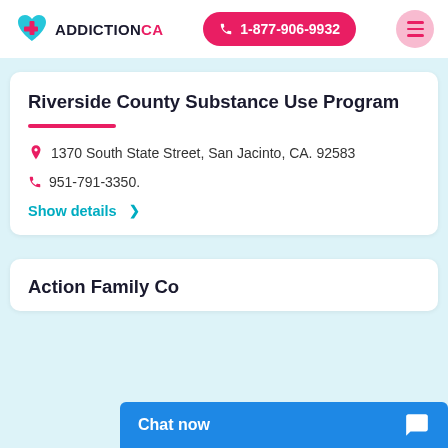[Figure (logo): AddictionCA logo with heart and cross icon in teal/red, text ADDICTIONCA]
1-877-906-9932
Riverside County Substance Use Program
1370 South State Street, San Jacinto, CA. 92583
951-791-3350.
Show details >
Action Family Co...